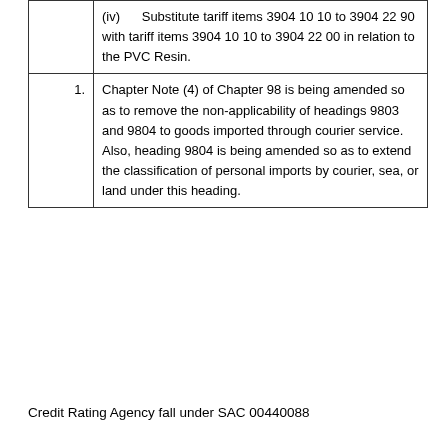|  | (iv)      Substitute tariff items 3904 10 10 to 3904 22 90 with tariff items 3904 10 10 to 3904 22 00 in relation to the PVC Resin. |
| 1. | Chapter Note (4) of Chapter 98 is being amended so as to remove the non-applicability of headings 9803 and 9804 to goods imported through courier service. Also, heading 9804 is being amended so as to extend the classification of personal imports by courier, sea, or land under this heading. |
Credit Rating Agency fall under SAC 00440088